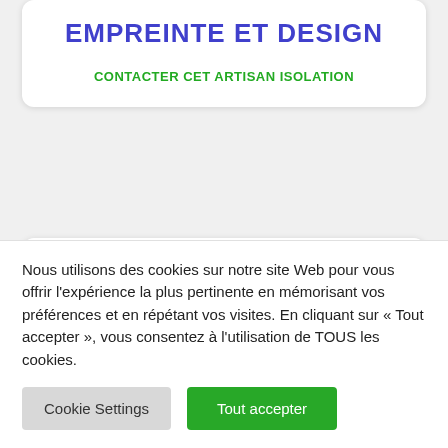EMPREINTE ET DESIGN
CONTACTER CET ARTISAN ISOLATION
EMPREINTE ET DESIGN
CONTACTER CET ARTISAN ISOLATION
Nous utilisons des cookies sur notre site Web pour vous offrir l'expérience la plus pertinente en mémorisant vos préférences et en répétant vos visites. En cliquant sur « Tout accepter », vous consentez à l'utilisation de TOUS les cookies.
Cookie Settings
Tout accepter